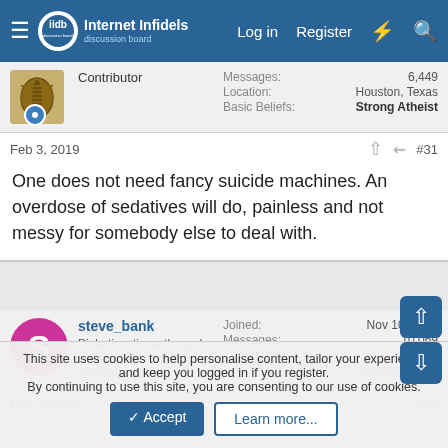Internet Infidels — Log in  Register
Contributor  Messages: 6,449  Location: Houston, Texas  Basic Beliefs: Strong Atheist
Feb 3, 2019  #31
One does not need fancy suicide machines. An overdose of sedatives will do, painless and not messy for somebody else to deal with.
steve_bank  Diabetic retinopathy and poor eyesight. Typos ...  Joined: Nov 10, 2017  Messages: 10,069  Location: seattle  Basic Beliefs: secular-skeptic
Feb 3, 2019  #32
This site uses cookies to help personalise content, tailor your experience and keep you logged in if you register.
By continuing to use this site, you are consenting to our use of cookies.